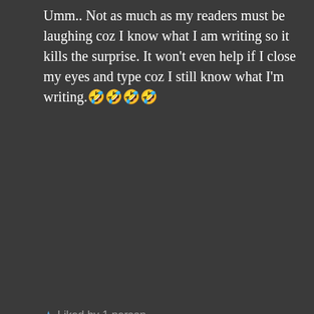Umm.. Not as much as my readers must be laughing coz I know what I am writing so it kills the surprise. It won't even help if I close my eyes and type coz I still know what I'm writing.🤣🤣🤣🤣
★ Liked by 1 person
[Figure (illustration): Circular avatar with silhouette of a person against a gradient background of blue and orange]
RISHIKA JAIN says: Jul 25, 2020 at 9:00 PM
Advertisements
[Figure (screenshot): DuckDuckGo advertisement banner: orange left side with text 'Search, browse, and email with more privacy. All in One Free App'; dark right side with DuckDuckGo logo]